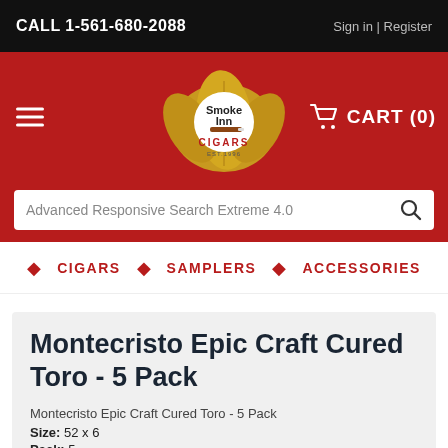CALL 1-561-680-2088
Sign in | Register
[Figure (logo): Smoke Inn Cigars logo with leaf motif and cigar, EST. 1996]
CART (0)
Advanced Responsive Search Extreme 4.0
CIGARS  SAMPLERS  ACCESSORIES
Montecristo Epic Craft Cured Toro - 5 Pack
Montecristo Epic Craft Cured Toro - 5 Pack
Size: 52 x 6
Pack: 5